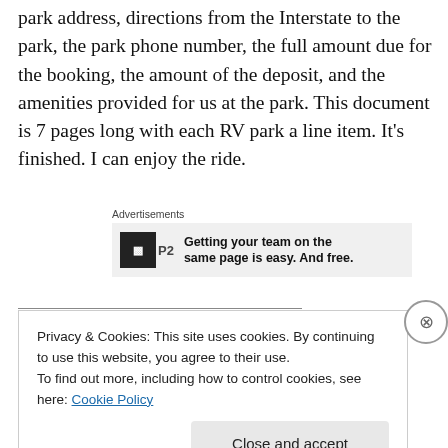park address, directions from the Interstate to the park, the park phone number, the full amount due for the booking, the amount of the deposit, and the amenities provided for us at the park. This document is 7 pages long with each RV park a line item. It's finished. I can enjoy the ride.
Advertisements
[Figure (other): Advertisement banner for P2 service: logo with letter P2 in a dark square, text reading 'Getting your team on the same page is easy. And free.']
Carol Ann Hoel, Author
Privacy & Cookies: This site uses cookies. By continuing to use this website, you agree to their use.
To find out more, including how to control cookies, see here: Cookie Policy
Close and accept